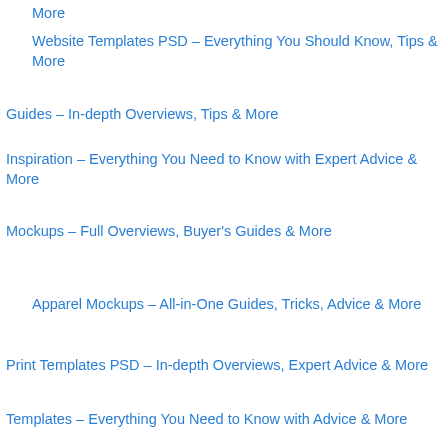More
Website Templates PSD – Everything You Should Know, Tips & More
Guides – In-depth Overviews, Tips & More
Inspiration – Everything You Need to Know with Expert Advice & More
Mockups – Full Overviews, Buyer's Guides & More
Apparel Mockups – All-in-One Guides, Tricks, Advice & More
Print Templates PSD – In-depth Overviews, Expert Advice & More
Templates – Everything You Need to Know with Advice & More
Wordpress – In-Depth Guides, Tips, Tricks & More